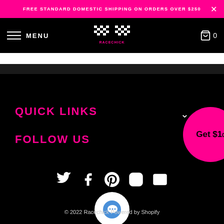FREE STANDARD DOMESTIC SHIPPING ON ORDERS OVER $250
MENU — Racechick logo — Cart 0
QUICK LINKS
FOLLOW US
[Figure (other): Social media icons: Twitter, Facebook, Pinterest, Instagram, Email]
[Figure (other): Chat bubble icon overlay]
© 2022 Racechick Powered by Shopify